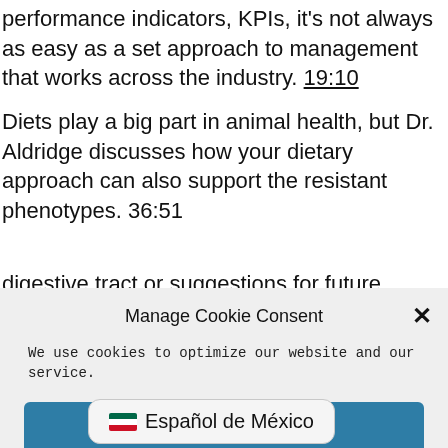performance indicators, KPIs, it's not always as easy as a set approach to management that works across the industry. 19:10
Diets play a big part in animal health, but Dr. Aldridge discusses how your dietary approach can also support the resistant phenotypes. 36:51
[Figure (screenshot): Cookie consent modal dialog with title 'Manage Cookie Consent', close button (×), body text 'We use cookies to optimize our website and our service.', an Accept button, and a Cookie Policy link.]
digestive tract or suggestions for future sessions, feel free to email anh.marketing@balchem.com.
[Figure (other): Language selector button showing Mexican flag emoji and text 'Español de México']